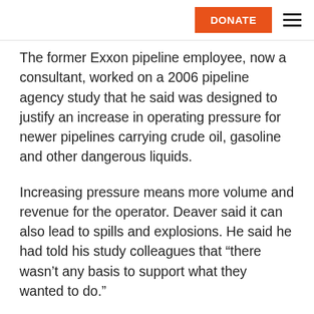DONATE
The former Exxon pipeline employee, now a consultant, worked on a 2006 pipeline agency study that he said was designed to justify an increase in operating pressure for newer pipelines carrying crude oil, gasoline and other dangerous liquids.
Increasing pressure means more volume and revenue for the operator. Deaver said it can also lead to spills and explosions. He said he had told his study colleagues that “there wasn’t any basis to support what they wanted to do.”
“The study could ultimately support badly done